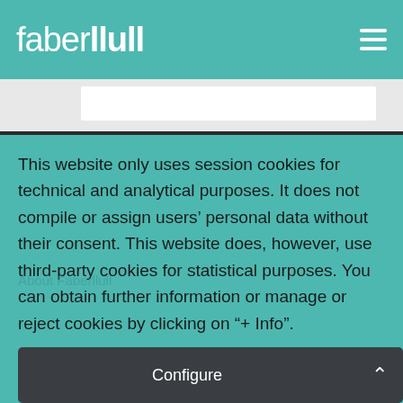faberllull
This website only uses session cookies for technical and analytical purposes. It does not compile or assign users’ personal data without their consent. This website does, however, use third-party cookies for statistical purposes. You can obtain further information or manage or reject cookies by clicking on "+ Info".
Accept all
Configure